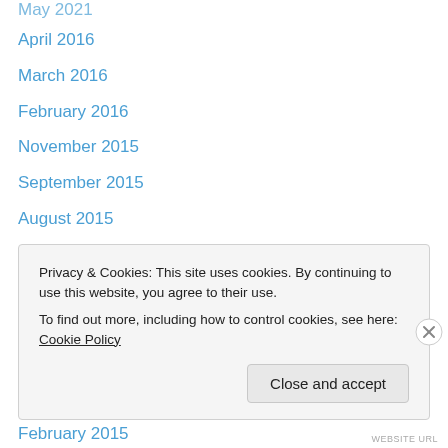May 2021
April 2016
March 2016
February 2016
November 2015
September 2015
August 2015
July 2015
June 2015
May 2015
April 2015
March 2015
February 2015
January 2015
Privacy & Cookies: This site uses cookies. By continuing to use this website, you agree to their use.
To find out more, including how to control cookies, see here: Cookie Policy
WEBSITE URL